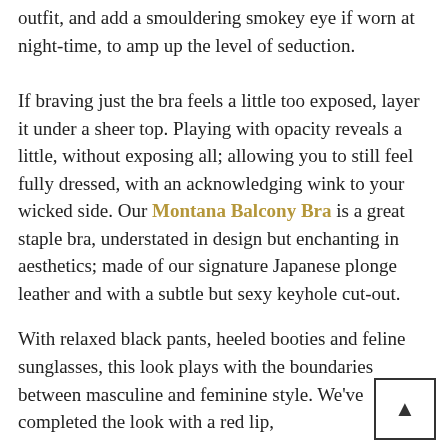outfit, and add a smouldering smokey eye if worn at night-time, to amp up the level of seduction.
If braving just the bra feels a little too exposed, layer it under a sheer top. Playing with opacity reveals a little, without exposing all; allowing you to still feel fully dressed, with an acknowledging wink to your wicked side. Our Montana Balcony Bra is a great staple bra, understated in design but enchanting in aesthetics; made of our signature Japanese plonge leather and with a subtle but sexy keyhole cut-out.
With relaxed black pants, heeled booties and feline sunglasses, this look plays with the boundaries between masculine and feminine style. We've completed the look with a red lip,